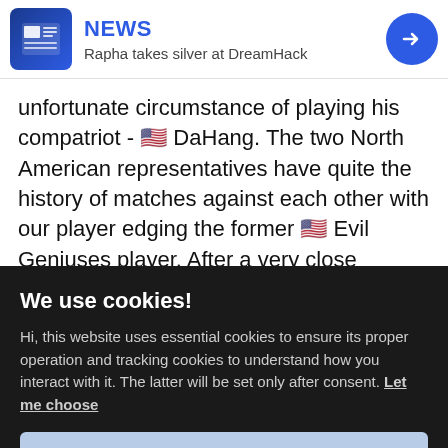NEWS — Rapha takes silver at DreamHack
unfortunate circumstance of playing his compatriot - 🇺🇸 DaHang. The two North American representatives have quite the history of matches against each other with our player edging the former 🇺🇸 Evil Geniuses player. After a very close
We use cookies!
Hi, this website uses essential cookies to ensure its proper operation and tracking cookies to understand how you interact with it. The latter will be set only after consent. Let me choose
Accept
Reject
Cypher scored frag after frag. Given this